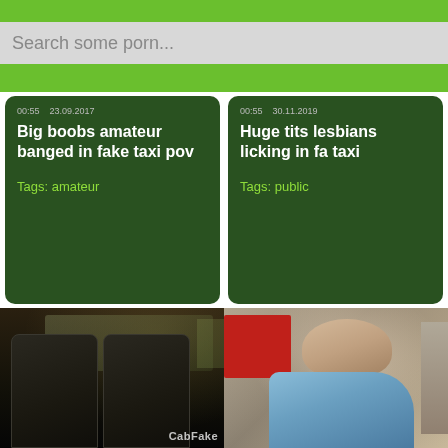[Figure (screenshot): Green top navigation bar of a adult video website]
Search some porn...
[Figure (screenshot): Green secondary navigation bar]
Big boobs amateur banged in fake taxi pov
Tags: amateur
Huge tits lesbians licking in fa taxi
Tags: public
[Figure (photo): Taxi car interior - back seat view with windows]
[Figure (photo): Woman passenger in a car, red car visible in background]